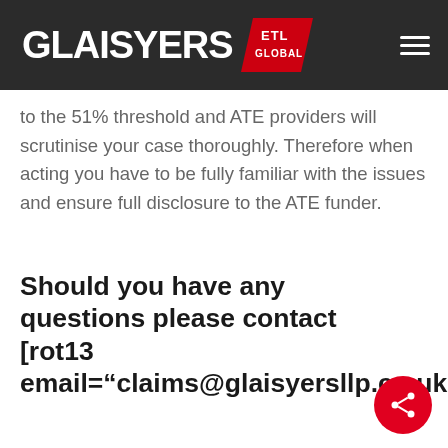GLAISYERS ETL GLOBAL
to the 51% threshold and ATE providers will scrutinise your case thoroughly. Therefore when acting you have to be fully familiar with the issues and ensure full disclosure to the ATE funder.
Should you have any questions please contact [rot13 email="claims@glaisyersllp.co.uk"]